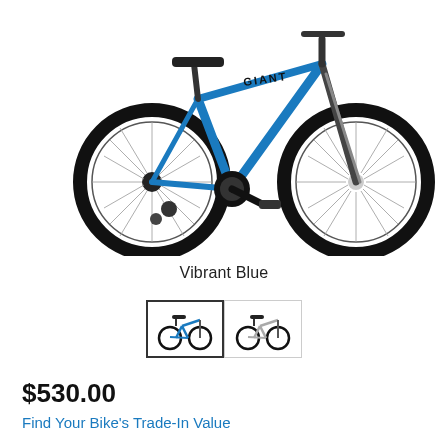[Figure (photo): A Giant brand mountain bike in Vibrant Blue color, side profile view showing full frame, two wheels with spokes, handlebars, saddle, pedals and drivetrain. White background.]
Vibrant Blue
[Figure (photo): Two small thumbnail images of the same mountain bike in different colors: first thumbnail (selected, blue border) shows the bike in blue, second thumbnail (unselected) shows the bike in grey/silver.]
$530.00
Find Your Bike's Trade-In Value